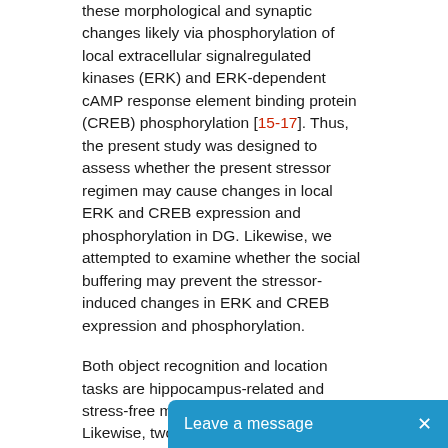these morphological and synaptic changes likely via phosphorylation of local extracellular signalregulated kinases (ERK) and ERK-dependent cAMP response element binding protein (CREB) phosphorylation [15-17]. Thus, the present study was designed to assess whether the present stressor regimen may cause changes in local ERK and CREB expression and phosphorylation in DG. Likewise, we attempted to examine whether the social buffering may prevent the stressor-induced changes in ERK and CREB expression and phosphorylation.
Both object recognition and location tasks are hippocampus-related and stress-free memory tasks [18-20]. Likewise, two versions of the Y-maze task, spontaneous arm alternation and exploration for the previously blocked arm, have been used to assess the quality of the hippocampus-related memory [21]. Hippocampal BDNF expression has been thought to modulate rodents' performance in the object location task [22]. In fact, many reports show that BDNF mRNA and protein expressions in the and protein expressions in the with the performance of the object recognition task [23